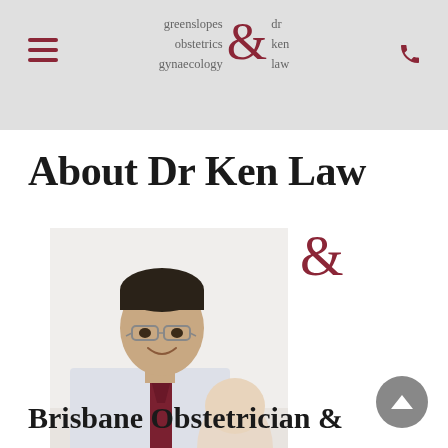greenslopes obstetrics gynaecology & dr ken law
About Dr Ken Law
[Figure (photo): Dr Ken Law, Brisbane obstetrician, smiling and holding a newborn baby. He is wearing glasses, a white shirt, and a dark red/maroon tie.]
Brisbane Obstetrician &